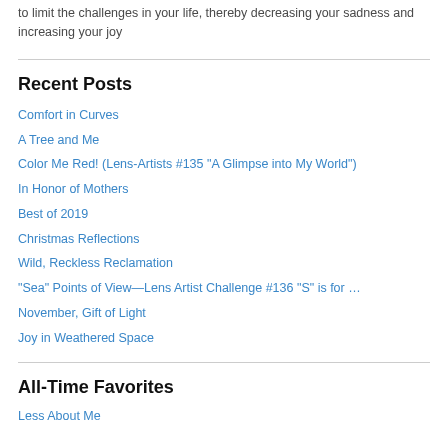to limit the challenges in your life, thereby decreasing your sadness and increasing your joy
Recent Posts
Comfort in Curves
A Tree and Me
Color Me Red! (Lens-Artists #135 "A Glimpse into My World")
In Honor of Mothers
Best of 2019
Christmas Reflections
Wild, Reckless Reclamation
“Sea” Points of View—Lens Artist Challenge #136 “S” is for …
November, Gift of Light
Joy in Weathered Space
All-Time Favorites
Less About Me